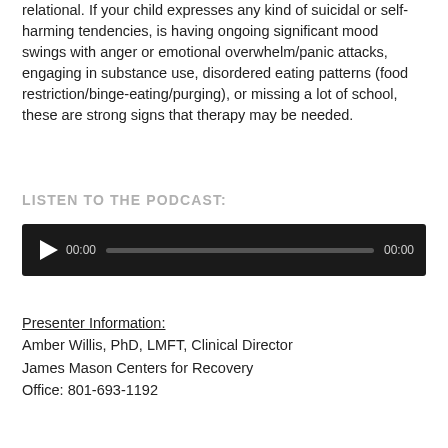relational. If your child expresses any kind of suicidal or self-harming tendencies, is having ongoing significant mood swings with anger or emotional overwhelm/panic attacks, engaging in substance use, disordered eating patterns (food restriction/binge-eating/purging), or missing a lot of school, these are strong signs that therapy may be needed.
LISTEN TO THE PODCAST:
[Figure (other): Audio player with play button, time display 00:00, progress bar, and end time 00:00 on a dark background]
Presenter Information:
Amber Willis, PhD, LMFT, Clinical Director
James Mason Centers for Recovery
Office: 801-693-1192